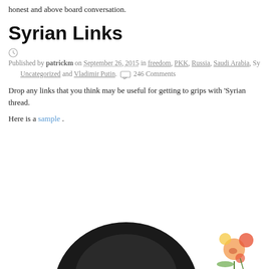honest and above board conversation.
Syrian Links
Published by patrickm on September 26, 2015 in freedom, PKK, Russia, Saudi Arabia, Sy... Uncategorized and Vladimir Putin. 246 Comments
Drop any links that you think may be useful for getting to grips with 'Syrian...' thread.
Here is a sample .
Blasphemy is legal, and should always rem...
Published by youngmarxist on September 16, 2012 in censorship and freedom. 20 Co...
[Figure (photo): Partial image of a person, visible at bottom of page, along with a floral illustration element in the bottom right corner.]